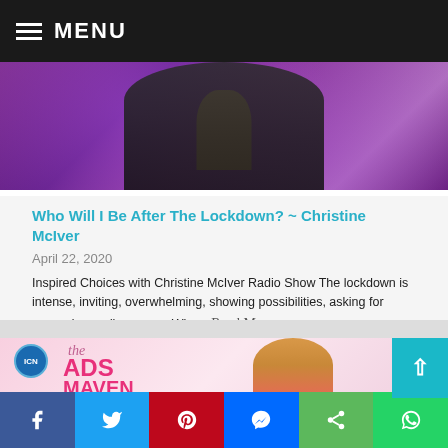MENU
[Figure (photo): Partial photo of a person with neck and shoulders visible against a purple bokeh background]
Who Will I Be After The Lockdown? ~ Christine McIver
April 22, 2020
Inspired Choices with Christine McIver Radio Show The lockdown is intense, inviting, overwhelming, showing possibilities, asking for more, demanding more.  Who... Read More...
[Figure (photo): The Ads Maven promotional banner with ICN logo, pink background, large magenta text reading 'the ADS MAVEN', and a smiling woman with curly blonde hair and glasses in a pink outfit]